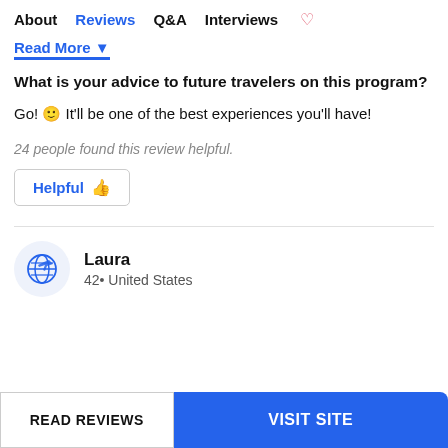About  Reviews  Q&A  Interviews
Read More
What is your advice to future travelers on this program?
Go! 😊 It'll be one of the best experiences you'll have!
24 people found this review helpful.
Helpful 👍
Laura
42 • United States
READ REVIEWS
VISIT SITE